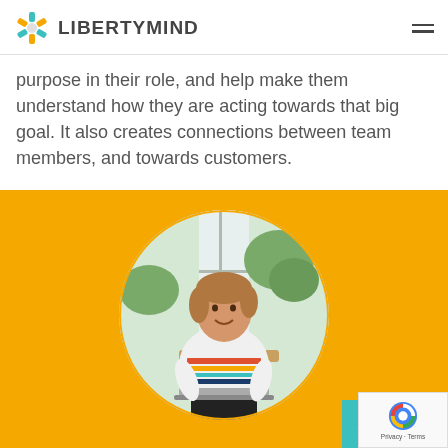LIBERTYMIND
purpose in their role, and help make them understand how they are acting towards that big goal. It also creates connections between team members, and towards customers.
[Figure (photo): Orange background section with circular cropped photo of a smiling woman wearing a colorful striped sweater, seated near a window with greenery outside, working on a laptop. Teal scroll-up button in bottom right. reCAPTCHA badge overlay.]